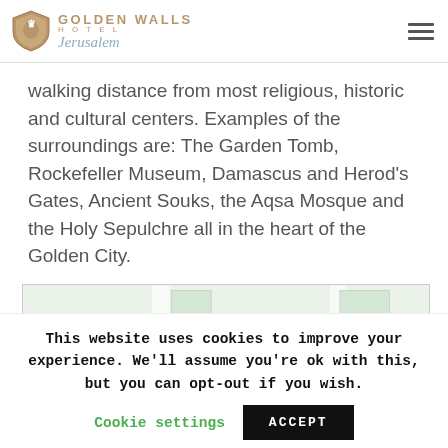Golden Walls Hotel Jerusalem
walking distance from most religious, historic and cultural centers. Examples of the surroundings are: The Garden Tomb, Rockefeller Museum, Damascus and Herod's Gates, Ancient Souks, the Aqsa Mosque and the Holy Sepulchre all in the heart of the Golden City.
[Figure (map): Google Maps snippet showing French School of Biblical and... label with graduation cap icon on the left, an orange location pin in the center, Al-Isfahani St label on the right, and street labels including Sa... at bottom center.]
This website uses cookies to improve your experience. We'll assume you're ok with this, but you can opt-out if you wish.
Cookie settings   ACCEPT